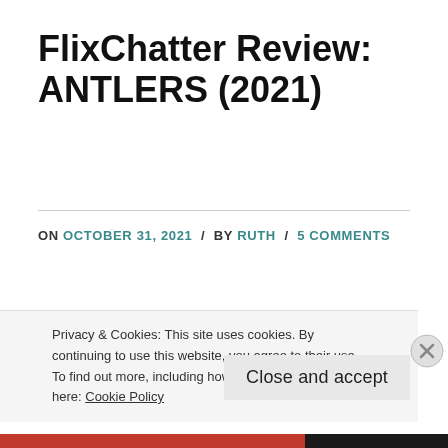FlixChatter Review: ANTLERS (2021)
ON OCTOBER 31, 2021 / BY RUTH / 5 COMMENTS
Directed by: Scott Cooper Written by: Henry Chaisson, Nick Antosca, Scott Cooper Antlers
Privacy & Cookies: This site uses cookies. By continuing to use this website, you agree to their use.
To find out more, including how to control cookies, see here: Cookie Policy
Close and accept